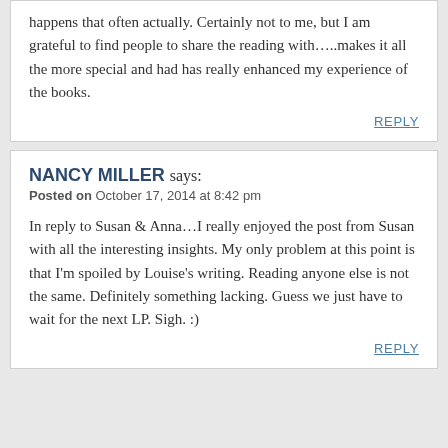happens that often actually. Certainly not to me, but I am grateful to find people to share the reading with…..makes it all the more special and had has really enhanced my experience of the books.
REPLY
NANCY MILLER says: Posted on October 17, 2014 at 8:42 pm
In reply to Susan & Anna…I really enjoyed the post from Susan with all the interesting insights. My only problem at this point is that I'm spoiled by Louise's writing. Reading anyone else is not the same. Definitely something lacking. Guess we just have to wait for the next LP. Sigh. :)
REPLY